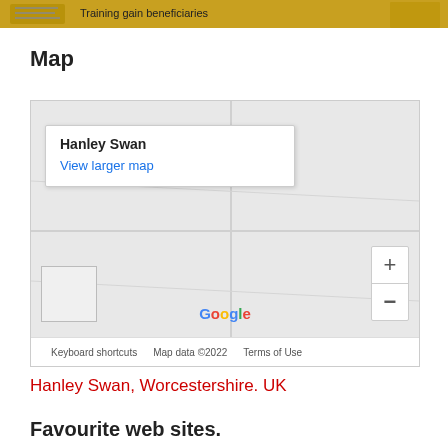[Figure (screenshot): Partial banner/header image with yellow background and partial text about 'Training gain beneficiaries']
Map
[Figure (map): Google Maps screenshot showing Hanley Swan location. Map has a white popup box with 'Hanley Swan' in bold and 'View larger map' link in blue. Zoom controls (+/-) on right side. Google logo and map footer with 'Keyboard shortcuts', 'Map data ©2022', 'Terms of Use'.]
Hanley Swan, Worcestershire. UK
Favourite web sites.